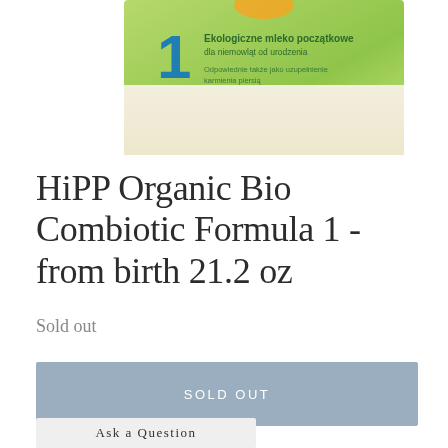[Figure (photo): Partial view of HiPP Organic Bio Combiotic Formula 1 baby formula box, showing the number 1 in blue, green background, and Polish text 'Ekologiczne mleko poczatkowe dla niemowlat od urodzenia. Odpowiednie takze jako uzupelnienie karmienia piersia.']
HiPP Organic Bio Combiotic Formula 1 - from birth 21.2 oz
Sold out
SOLD OUT
Ask a Question